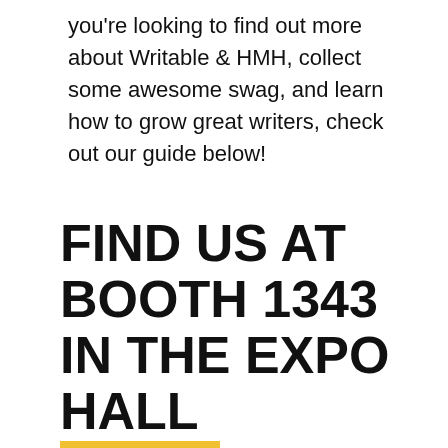you're looking to find out more about Writable & HMH, collect some awesome swag, and learn how to grow great writers, check out our guide below!
FIND US AT BOOTH 1343 IN THE EXPO HALL